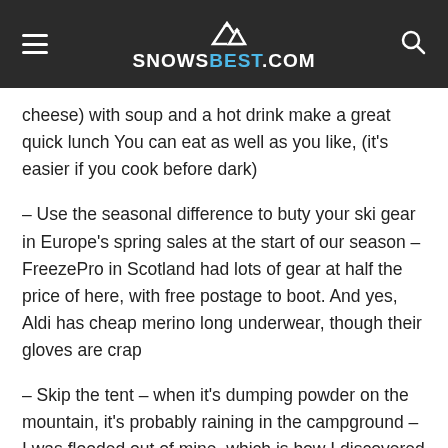SNOWSBEST.COM
cheese) with soup and a hot drink make a great quick lunch You can eat as well as you like, (it's easier if you cook before dark)
– Use the seasonal difference to buty your ski gear in Europe's spring sales at the start of our season – FreezePro in Scotland had lots of gear at half the price of here, with free postage to boot. And yes, Aldi has cheap merino long underwear, though their gloves are crap
– Skip the tent – when it's dumping powder on the mountain, it's probably raining in the campground – I was flooded out of mine, which is how I discovered sleeping in a modified SUV was just fine – You need a bit of creativity to make a small